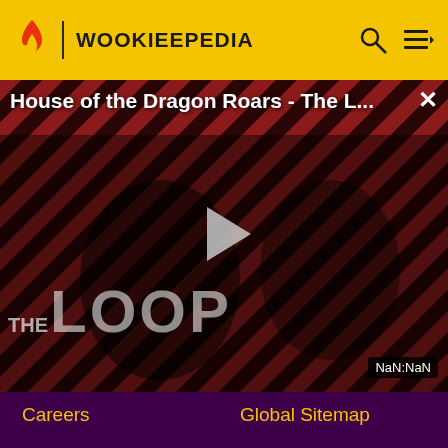[Figure (screenshot): Wookieepedia website header with yellow background, flame logo, site name, search icon and menu icon]
[Figure (screenshot): Video player showing 'House of the Dragon Roars - The L...' with diagonal red/dark stripe background, THE LOOP text, play button, and NaN:NaN duration badge]
Careers
Global Sitemap
Press
Local Sitemap
Contact